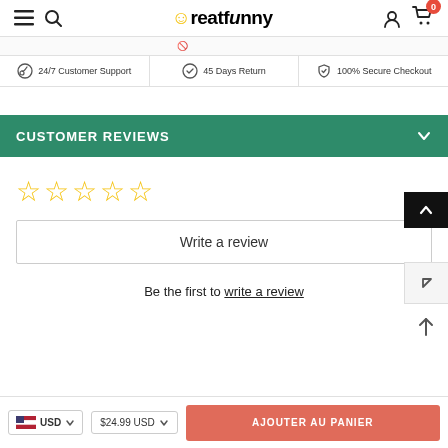Creatfunny — navigation header with logo, search, account, cart (0)
24/7 Customer Support  |  45 Days Return  |  100% Secure Checkout
CUSTOMER REVIEWS
[Figure (other): Five empty star rating icons (yellow outlines, no fill)]
Write a review
Be the first to write a review
USD  $24.99 USD  AJOUTER AU PANIER